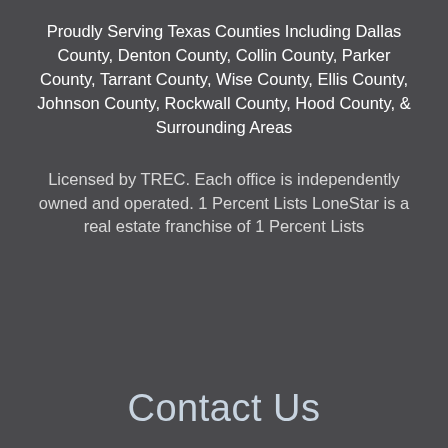Proudly Serving Texas Counties Including Dallas County, Denton County, Collin County, Parker County, Tarrant County, Wise County, Ellis County, Johnson County, Rockwall County, Hood County, & Surrounding Areas
Licensed by TREC. Each office is independently owned and operated. 1 Percent Lists LoneStar is a real estate franchise of 1 Percent Lists
Contact Us